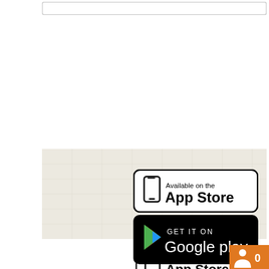[Figure (screenshot): White horizontal bar at top of page, resembling a web browser address bar or search input field]
[Figure (map): Light-colored map area with beige/off-white background showing a geographical map region]
[Figure (illustration): Apple App Store download badge - white rounded rectangle with phone icon, 'Available on the' text and 'App Store' in large bold text]
[Figure (illustration): Google Play download badge - black rounded rectangle with colorful Play triangle logo, 'GET IT ON' text and 'Google play' in large white text]
[Figure (other): Orange square badge in bottom-right corner with a person/user icon and the number 0]